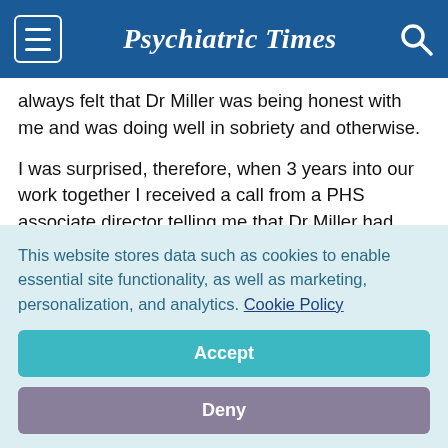Psychiatric Times
always felt that Dr Miller was being honest with me and was doing well in sobriety and otherwise.
I was surprised, therefore, when 3 years into our work together I received a call from a PHS associate director telling me that Dr Miller had tested positive for morphine. He also asked me whether I knew anything about this. I told him that I thought Dr Miller was doing well and that I could not explain the positive result. I hastened to add,
This website stores data such as cookies to enable essential site functionality, as well as marketing, personalization, and analytics. Cookie Policy
Accept
Deny